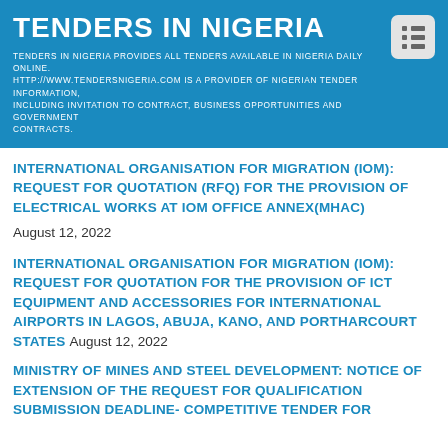TENDERS IN NIGERIA
TENDERS IN NIGERIA PROVIDES ALL TENDERS AVAILABLE IN NIGERIA DAILY ONLINE. HTTP://WWW.TENDERSNIGERIA.COM IS A PROVIDER OF NIGERIAN TENDER INFORMATION, INCLUDING INVITATION TO CONTRACT, BUSINESS OPPORTUNITIES AND GOVERNMENT CONTRACTS.
INTERNATIONAL ORGANISATION FOR MIGRATION (IOM): REQUEST FOR QUOTATION (RFQ) FOR THE PROVISION OF ELECTRICAL WORKS AT IOM OFFICE ANNEX(MHAC)
August 12, 2022
INTERNATIONAL ORGANISATION FOR MIGRATION (IOM): REQUEST FOR QUOTATION FOR THE PROVISION OF ICT EQUIPMENT AND ACCESSORIES FOR INTERNATIONAL AIRPORTS IN LAGOS, ABUJA, KANO, AND PORTHARCOURT STATES August 12, 2022
MINISTRY OF MINES AND STEEL DEVELOPMENT: NOTICE OF EXTENSION OF THE REQUEST FOR QUALIFICATION SUBMISSION DEADLINE- COMPETITIVE TENDER FOR